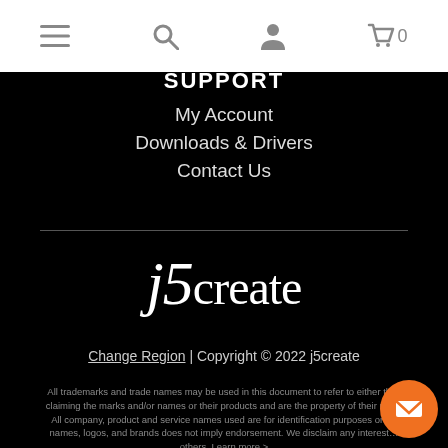Navigation icons: menu, search, account, cart (0)
SUPPORT
My Account
Downloads & Drivers
Contact Us
[Figure (logo): j5create logo in white italic serif font on black background]
Change Region | Copyright © 2022 j5create
All trademarks and trade names may be used in this document to refer to either the claiming the marks and/or names or their products and are the property of their res. All company, product and service names used are for identification purposes only. names, logos, and brands does not imply endorsement. We disclaim any interest of others. Learn more >